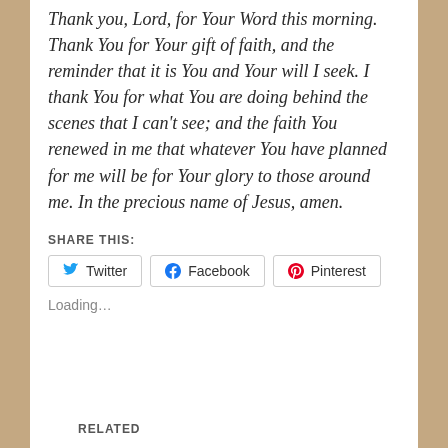Thank you, Lord, for Your Word this morning. Thank You for Your gift of faith, and the reminder that it is You and Your will I seek. I thank You for what You are doing behind the scenes that I can't see; and the faith You renewed in me that whatever You have planned for me will be for Your glory to those around me. In the precious name of Jesus, amen.
SHARE THIS:
Twitter   Facebook   Pinterest
Loading...
RELATED